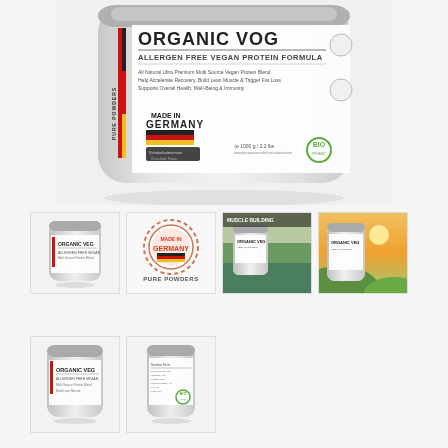[Figure (photo): Main large product photo of Organic Veg allergen free vegan protein formula tub by Pure Powders, 1000g, Made in Germany, BIO certified, white container with label showing text]
[Figure (photo): Thumbnail 1: Small product tub photo, Organic Veg front label]
[Figure (photo): Thumbnail 2: Made in Germany circular seal badge with Pure Powders text below]
[Figure (photo): Thumbnail 3: Product label panel with Muscle Building text and green field background]
[Figure (photo): Thumbnail 4: Product tub with sunset/nature green hills background]
[Figure (photo): Thumbnail 5: Smaller product tub, Organic Veg front label]
[Figure (photo): Thumbnail 6: Product tub back label showing nutritional information and BIO logo]